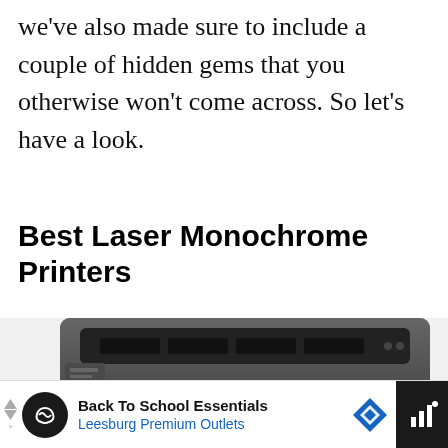we've also made sure to include a couple of hidden gems that you otherwise won't come across. So let's have a look.
Best Laser Monochrome Printers
[Figure (photo): Photo of a Brother laser monochrome printer, viewed from slightly above, showing the top panel with paper output slot and control buttons, and front panel with paper tray. The printer is dark grey/black.]
[Figure (screenshot): Advertisement bar at the bottom of the page: 'Back To School Essentials — Leesburg Premium Outlets' with a circular logo, navigation diamond icon, and a dark right panel with a Wi-Fi/signal icon.]